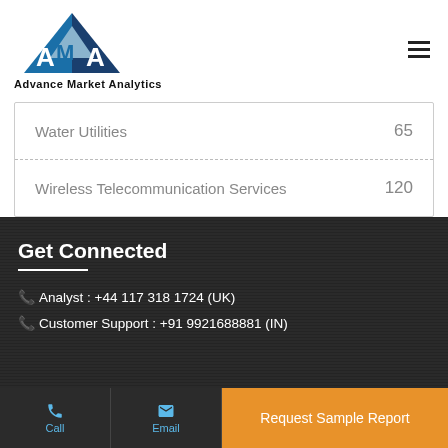[Figure (logo): Advance Market Analytics logo with blue triangle design and text 'Advance Market Analytics']
| Service | Value |
| --- | --- |
| Water Utilities | 65 |
| Wireless Telecommunication Services | 120 |
Get Connected
Analyst : +44 117 318 1724 (UK)
Customer Support : +91 9921688881 (IN)
Call  Email  Request Sample Report